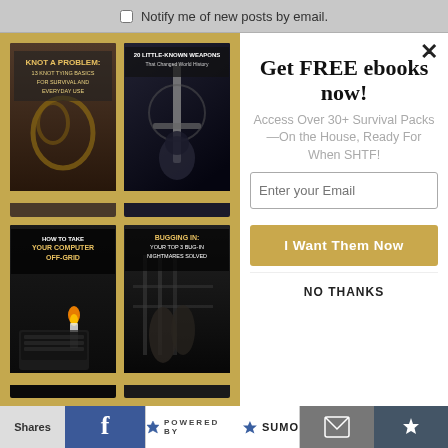Notify me of new posts by email.
[Figure (illustration): Modal popup with 4 survival ebook covers on the left (golden/tan background) and a signup form on the right. Books: 'Knot A Problem: 13 Knot Tying Basics For Survival And Everyday Use', '20 Little-Known Weapons That Changed World History', 'How To Take Your Computer Off-Grid', 'Bugging In: Your Top 3 Bug-In Nightmares Solved']
Get FREE ebooks now!
Access Over 30+ Survival Packs—On the House, Ready For When SHTF!
Enter your Email
I Want Them Now
NO THANKS
Shares | [Facebook] | POWERED BY SUMO | [Mail] | [Crown]